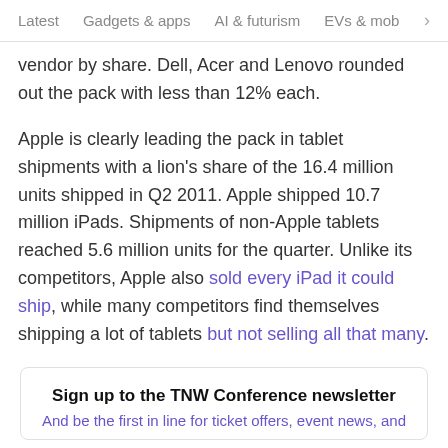Latest   Gadgets & apps   AI & futurism   EVs & mobil  >
vendor by share. Dell, Acer and Lenovo rounded out the pack with less than 12% each.
Apple is clearly leading the pack in tablet shipments with a lion's share of the 16.4 million units shipped in Q2 2011. Apple shipped 10.7 million iPads. Shipments of non-Apple tablets reached 5.6 million units for the quarter. Unlike its competitors, Apple also sold every iPad it could ship, while many competitors find themselves shipping a lot of tablets but not selling all that many.
Sign up to the TNW Conference newsletter
And be the first in line for ticket offers, event news, and